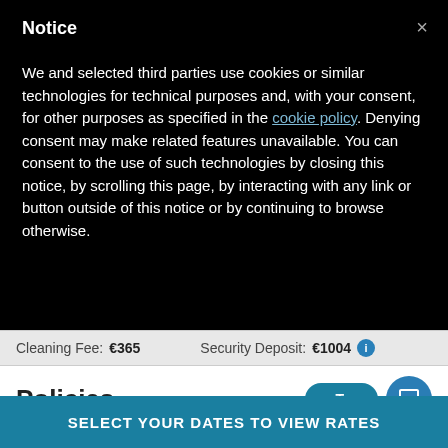Notice
We and selected third parties use cookies or similar technologies for technical purposes and, with your consent, for other purposes as specified in the cookie policy. Denying consent may make related features unavailable. You can consent to the use of such technologies by closing this notice, by scrolling this page, by interacting with any link or button outside of this notice or by continuing to browse otherwise.
Cleaning Fee:  €365    Security Deposit:  €1004
Policies
No smoking allowed
Free of City tax
SELECT YOUR DATES TO VIEW RATES